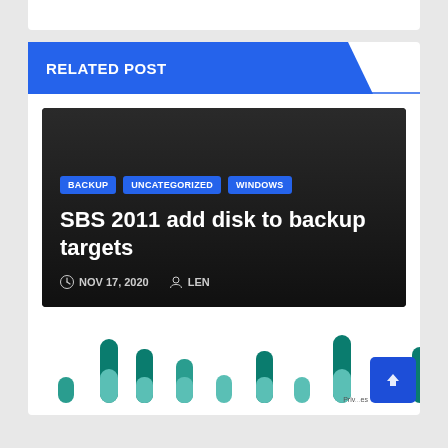RELATED POST
[Figure (photo): Dark card with category tags BACKUP, UNCATEGORIZED, WINDOWS, post title 'SBS 2011 add disk to backup targets', and meta info NOV 17, 2020 by LEN]
SBS 2011 add disk to backup targets
NOV 17, 2020   LEN
[Figure (bar-chart): Decorative grouped bar chart with teal/dark teal capsule-shaped bars of varying heights at the bottom of the page]